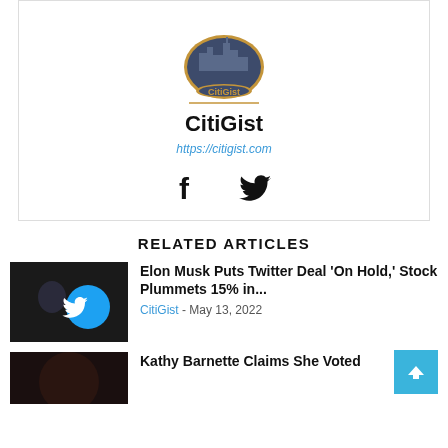[Figure (logo): CitiGist logo — circular emblem with city skyline icon in dark blue, gold text 'CitiGist' inside, gold outer ring]
CitiGist
https://citigist.com
[Figure (illustration): Facebook 'f' icon (black) and Twitter bird icon (black), side by side]
RELATED ARTICLES
[Figure (photo): Elon Musk pointing at a large blue Twitter bird logo circle, dark background]
Elon Musk Puts Twitter Deal 'On Hold,' Stock Plummets 15% in...
CitiGist - May 13, 2022
[Figure (photo): Dark image, partial face visible — related to Kathy Barnette article]
Kathy Barnette Claims She Voted